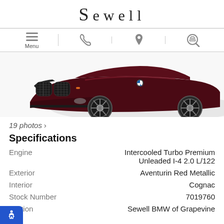SEWELL
[Figure (screenshot): Navigation bar with menu hamburger icon, phone icon, location pin icon, and search/car icon]
[Figure (photo): Close-up front-low angle photo of a dark red/maroon BMW vehicle showing the kidney grille, front bumper, and wheels on white background]
19 photos >
Specifications
|  |  |
| --- | --- |
| Engine | Intercooled Turbo Premium Unleaded I-4 2.0 L/122 |
| Exterior | Aventurin Red Metallic |
| Interior | Cognac |
| Stock Number | 7019760 |
| Location | Sewell BMW of Grapevine |